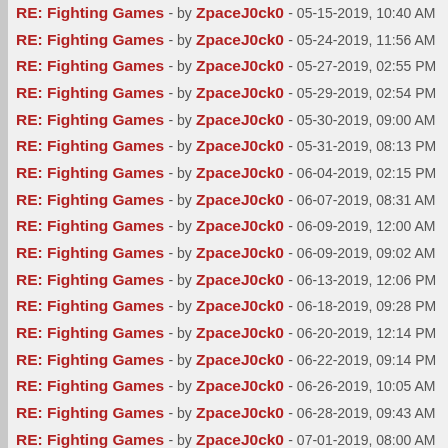RE: Fighting Games - by ZpaceJ0ck0 - 05-15-2019, 10:40 AM
RE: Fighting Games - by ZpaceJ0ck0 - 05-24-2019, 11:56 AM
RE: Fighting Games - by ZpaceJ0ck0 - 05-27-2019, 02:55 PM
RE: Fighting Games - by ZpaceJ0ck0 - 05-29-2019, 02:54 PM
RE: Fighting Games - by ZpaceJ0ck0 - 05-30-2019, 09:00 AM
RE: Fighting Games - by ZpaceJ0ck0 - 05-31-2019, 08:13 PM
RE: Fighting Games - by ZpaceJ0ck0 - 06-04-2019, 02:15 PM
RE: Fighting Games - by ZpaceJ0ck0 - 06-07-2019, 08:31 AM
RE: Fighting Games - by ZpaceJ0ck0 - 06-09-2019, 12:00 AM
RE: Fighting Games - by ZpaceJ0ck0 - 06-09-2019, 09:02 AM
RE: Fighting Games - by ZpaceJ0ck0 - 06-13-2019, 12:06 PM
RE: Fighting Games - by ZpaceJ0ck0 - 06-18-2019, 09:28 PM
RE: Fighting Games - by ZpaceJ0ck0 - 06-20-2019, 12:14 PM
RE: Fighting Games - by ZpaceJ0ck0 - 06-22-2019, 09:14 PM
RE: Fighting Games - by ZpaceJ0ck0 - 06-26-2019, 10:05 AM
RE: Fighting Games - by ZpaceJ0ck0 - 06-28-2019, 09:43 AM
RE: Fighting Games - by ZpaceJ0ck0 - 07-01-2019, 08:00 AM
RE: Fighting Games - by ZpaceJ0ck0 - 07-04-2019, 09:28 AM
RE: Fighting Games - by ZpaceJ0ck0 - 07-13-2019, 07:55 PM
RE: Fighting Games - by ZpaceJ0ck0 - 07-19-2019, 05:00 PM
RE: Fighting Games - by ZpaceJ0ck0 - 07-26-2019, 03:30 PM
RE: Fighting Games - by ZpaceJ0ck0 - 07-28-2019, 11:04 PM
RE: Fighting Games - by ZpaceJ0ck0 - 08-01-2019, 01:27 PM
RE: Fighting Games - by ZpaceJ0ck0 - 08-02-2019, 10:32 AM